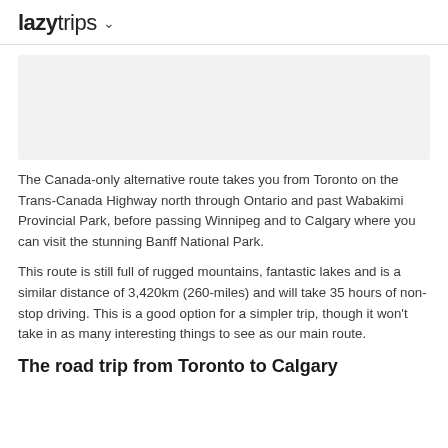lazytrips ∨
[Figure (photo): Image placeholder - light gray rectangular image area]
The Canada-only alternative route takes you from Toronto on the Trans-Canada Highway north through Ontario and past Wabakimi Provincial Park, before passing Winnipeg and to Calgary where you can visit the stunning Banff National Park.
This route is still full of rugged mountains, fantastic lakes and is a similar distance of 3,420km (260-miles) and will take 35 hours of non-stop driving. This is a good option for a simpler trip, though it won't take in as many interesting things to see as our main route.
The road trip from Toronto to Calgary